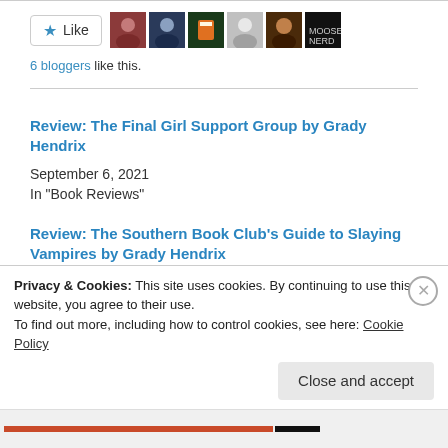[Figure (other): Like button with star icon and 6 blogger avatar thumbnails]
6 bloggers like this.
Review: The Final Girl Support Group by Grady Hendrix
September 6, 2021
In "Book Reviews"
Review: The Southern Book Club's Guide to Slaying Vampires by Grady Hendrix
August 19, 2020
Privacy & Cookies: This site uses cookies. By continuing to use this website, you agree to their use.
To find out more, including how to control cookies, see here: Cookie Policy
Close and accept